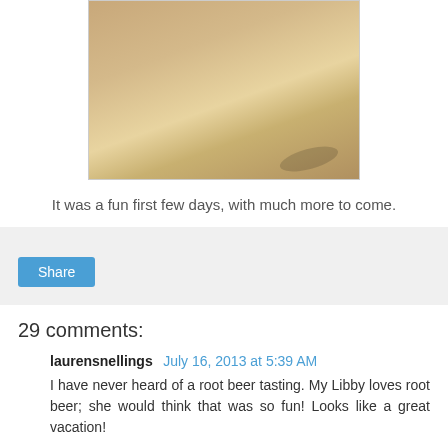[Figure (photo): Photo of a child with red hair being lifted/held up outdoors on a sunny day with shadows on the ground]
It was a fun first few days, with much more to come.
Share
29 comments:
laurensnellings July 16, 2013 at 5:39 AM
I have never heard of a root beer tasting. My Libby loves root beer; she would think that was so fun! Looks like a great vacation!